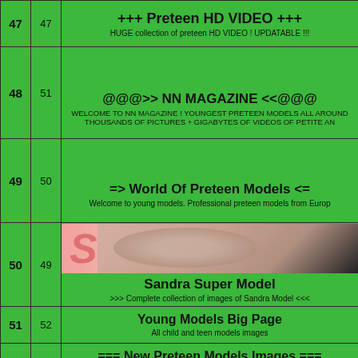| # | #2 | Content |
| --- | --- | --- |
| 47 | 47 | +++ Preteen HD VIDEO +++
HUGE collection of preteen HD VIDEO ! UPDATABLE !!! |
| 48 | 51 | @@@>> NN MAGAZINE <<@@@
WELCOME TO NN MAGAZINE ! YOUNGEST PRETEEN MODELS ALL AROUND
THOUSANDS OF PICTURES + GIGABYTES OF VIDEOS OF PETITE AN |
| 49 | 50 | => World Of Preteen Models <=
Welcome to young models. Professional preteen models from Europ |
| 50 | 49 | [image] Sandra Super Model
>>> Complete collection of images of Sandra Model <<< |
| 51 | 52 | Young Models Big Page
All child and teen models images |
| 52 | 54 | === New Preteen Models Images ===
SEE NEW PICTURES SAMPLES THAT WE HAVE ADDED EACH MO |
| 53 | 55 | Young Models Gallery |